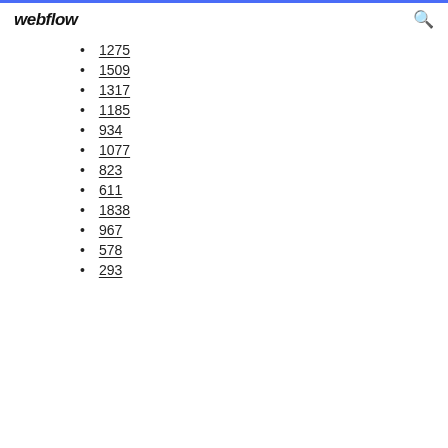webflow
1275
1509
1317
1185
934
1077
823
611
1838
967
578
293